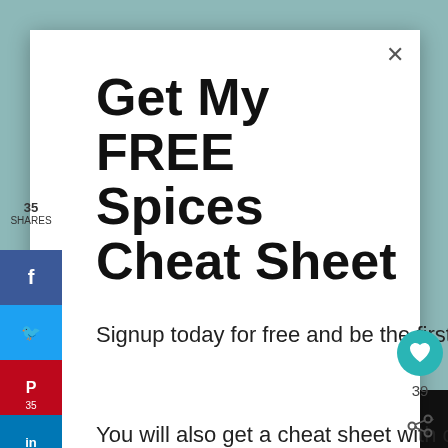Get My FREE Spices Cheat Sheet
Signup today for free and be the first to get notified when we post new recipes.
You will also get a cheat sheet with over 36 different homemade spice mixes.
35 SHARES
First name
WHAT'S NEXT → Easy Strawberry...
39